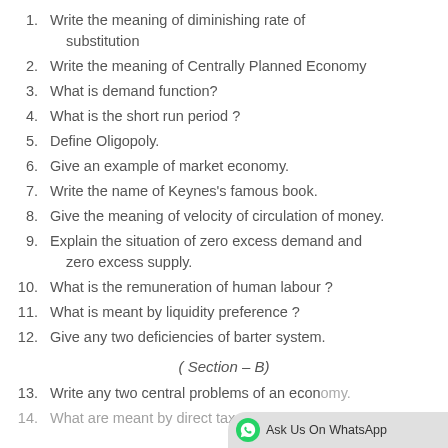Write the meaning of diminishing rate of substitution
Write the meaning of Centrally Planned Economy
What is demand function?
What is the short run period ?
Define Oligopoly.
Give an example of market economy.
Write the name of Keynes's famous book.
Give the meaning of velocity of circulation of money.
Explain the situation of zero excess demand and zero excess supply.
What is the remuneration of human labour ?
What is meant by liquidity preference ?
Give any two deficiencies of barter system.
( Section – B)
Write any two central problems of an economy.
What are meant by direct taxes and indirect taxes ?